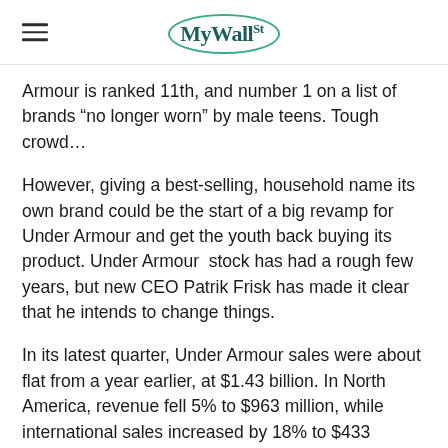MyWallSt
Armour is ranked 11th, and number 1 on a list of brands “no longer worn” by male teens. Tough crowd…
However, giving a best-selling, household name its own brand could be the start of a big revamp for Under Armour and get the youth back buying its product. Under Armour stock has had a rough few years, but new CEO Patrik Frisk has made it clear that he intends to change things.
In its latest quarter, Under Armour sales were about flat from a year earlier, at $1.43 billion. In North America, revenue fell 5% to $963 million, while international sales increased by 18% to $433 million. This may not be anything to shout about, but it’s